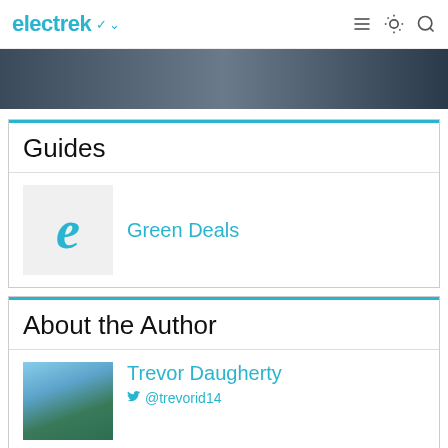electrek
[Figure (photo): Partial hero image showing what appears to be a car interior or vehicle scene, dark tones]
Guides
[Figure (logo): Electrek 'e' logo in teal/cyan color on light gray background]
Green Deals
About the Author
[Figure (photo): Photo of Trevor Daugherty outdoors with blue sky background]
Trevor Daugherty
@trevorid14